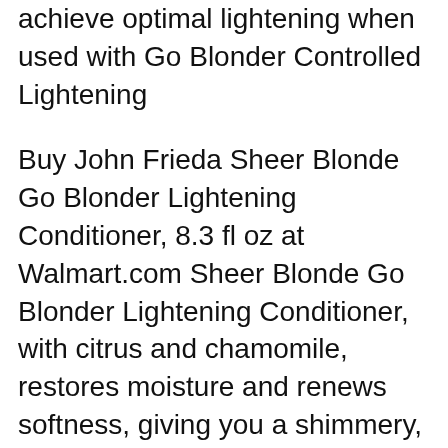achieve optimal lightening when used with Go Blonder Controlled Lightening
Buy John Frieda Sheer Blonde Go Blonder Lightening Conditioner, 8.3 fl oz at Walmart.com Sheer Blonde Go Blonder Lightening Conditioner, with citrus and chamomile, restores moisture and renews softness, giving you a shimmery, sunlit blonde. For all shades of natural, color-treated or highlighted blonde вЂ¦ Nov 08, 2010В В· A review of the John Frieda 'Go Blonder' Shampoo and Conditioner. Thanks so much for watching everyone! I'd love to hear about your experiences (good вЂ¦
Apr 20, 2010В В· John Frieda Sheer